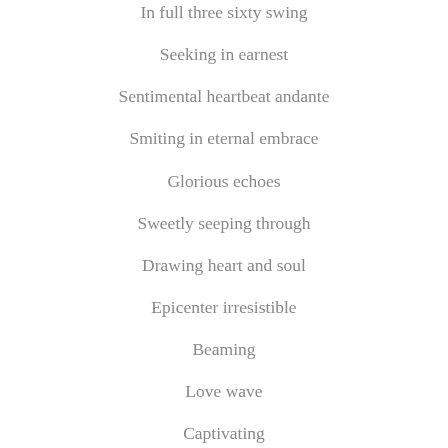In full three sixty swing
Seeking in earnest
Sentimental heartbeat andante
Smiting in eternal embrace
Glorious echoes
Sweetly seeping through
Drawing heart and soul
Epicenter irresistible
Beaming
Love wave
Captivating
~